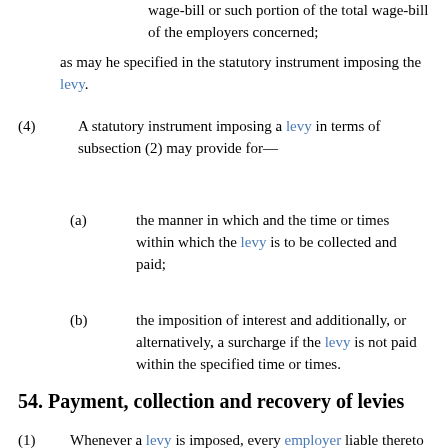wage-bill or such portion of the total wage-bill of the employers concerned;
as may he specified in the statutory instrument imposing the levy.
(4) A statutory instrument imposing a levy in terms of subsection (2) may provide for—
(a) the manner in which and the time or times within which the levy is to be collected and paid;
(b) the imposition of interest and additionally, or alternatively, a surcharge if the levy is not paid within the specified time or times.
54. Payment, collection and recovery of levies
(1) Whenever a levy is imposed, every employer liable thereto shall, in accordance with the statutory instrument imposing the levy, pay to the Fund the amount due from him in the specified manner and at